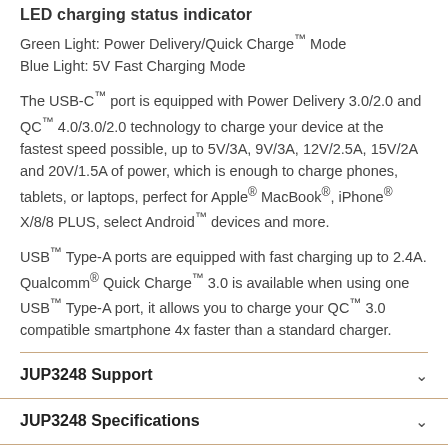LED charging status indicator
Green Light: Power Delivery/Quick Charge™ Mode
Blue Light: 5V Fast Charging Mode
The USB-C™ port is equipped with Power Delivery 3.0/2.0 and QC™ 4.0/3.0/2.0 technology to charge your device at the fastest speed possible, up to 5V/3A, 9V/3A, 12V/2.5A, 15V/2A and 20V/1.5A of power, which is enough to charge phones, tablets, or laptops, perfect for Apple® MacBook®, iPhone® X/8/8 PLUS, select Android™ devices and more.
USB™ Type-A ports are equipped with fast charging up to 2.4A. Qualcomm® Quick Charge™ 3.0 is available when using one USB™ Type-A port, it allows you to charge your QC™ 3.0 compatible smartphone 4x faster than a standard charger.
JUP3248 Support
JUP3248 Specifications